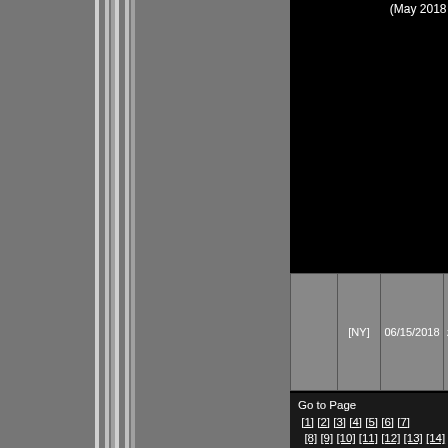(May 2018
|  | [NY] | 06/15/2018 | zine/pamphlet | Under Lo... & Key 62 (May 2018 |
| --- | --- | --- | --- | --- |
|  | [NY] | 06/15/2018 | zine/pamphlet | Under Lo... & Key 62 (May 2018 |
Go to Page  [1]  [2]  [3]  [4]  [5]  [6]  [7]  [8]  [9]  [10]  [11]  [12]  [13]  [14]  [15] [16]  [17]  [18]  [19]  [20]  [21]  [22]  [23]  [24]  [25]  [26]  [27]  28  [29]  [30]  [31] [32]  [33]  [34]  [35]  [36]  [37]  [38]  [39] [40]  [41]  [42]  [43]  [44]  [45]  [46]  [47] [48]  [49]  [50]  [51]  [52]  [53]  [54]  [55] [56]  [57]  [58]  [59]  [60]  [61]  [62]  [63] [64]  [65]  [66]  [67]  [68]  [69]  [70]  [71]